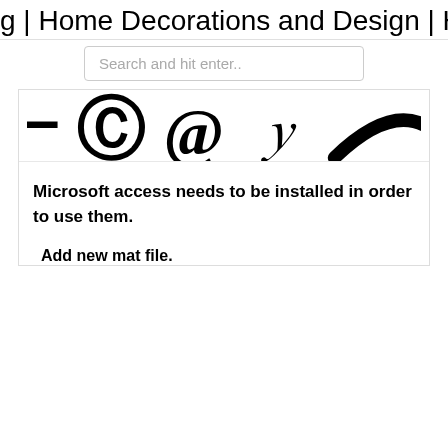g | Home Decorations and Design | H
Search and hit enter..
[Figure (illustration): Partial social media / decorative icons cropped at top — showing fragments of circular logo-like symbols in black on white background]
Microsoft access needs to be installed in order to use them.
Add new mat file.